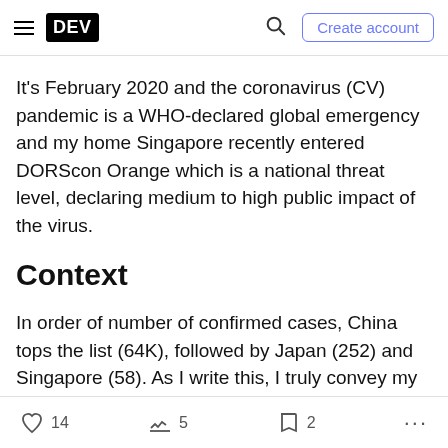DEV | Create account
It's February 2020 and the coronavirus (CV) pandemic is a WHO-declared global emergency and my home Singapore recently entered DORScon Orange which is a national threat level, declaring medium to high public impact of the virus.
Context
In order of number of confirmed cases, China tops the list (64K), followed by Japan (252) and Singapore (58). As I write this, I truly convey my heartfelt concern for Asia's duress and those affected during this period.
14  5  2  ...